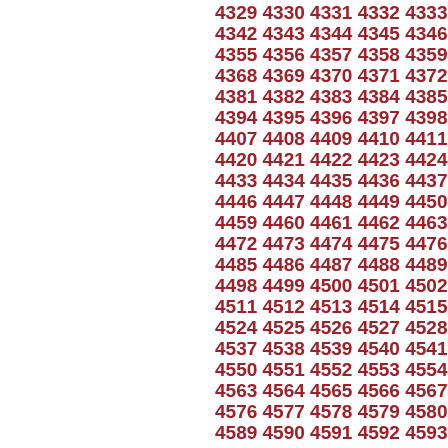4329 4330 4331 4332 4333 4334... 4342 4343 4344 4345 4346 4347... 4355 4356 4357 4358 4359 4360... 4368 4369 4370 4371 4372 4373... 4381 4382 4383 4384 4385 4386... 4394 4395 4396 4397 4398 4399... 4407 4408 4409 4410 4411 4412... 4420 4421 4422 4423 4424 4425... 4433 4434 4435 4436 4437 4438... 4446 4447 4448 4449 4450 4451... 4459 4460 4461 4462 4463 4464... 4472 4473 4474 4475 4476 4477... 4485 4486 4487 4488 4489 4490... 4498 4499 4500 4501 4502 4503... 4511 4512 4513 4514 4515 4516... 4524 4525 4526 4527 4528 4529... 4537 4538 4539 4540 4541 4542... 4550 4551 4552 4553 4554 4555... 4563 4564 4565 4566 4567 4568... 4576 4577 4578 4579 4580 4581... 4589 4590 4591 4592 4593 4594...